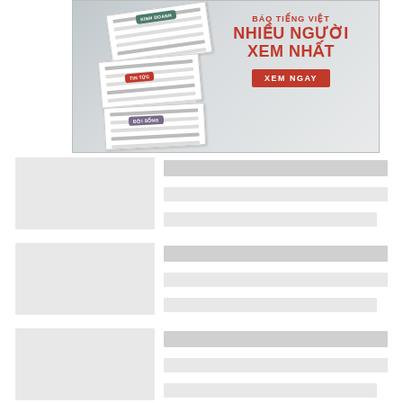[Figure (illustration): Vietnamese news website advertisement banner. Text reads 'BÁO TIẾNG VIỆT NHIỀU NGƯỜI XEM NHẤT' with a 'XEM NGAY' (View Now) button in red. Shows stacked web page thumbnails with category tabs: KINH DOANH, TIN TỨC, ĐỜI SỐNG.]
[Figure (illustration): News article card placeholder row 1 - grey image placeholder on left, three grey text line placeholders on right.]
[Figure (illustration): News article card placeholder row 2 - grey image placeholder on left, three grey text line placeholders on right.]
[Figure (illustration): News article card placeholder row 3 - grey image placeholder on left, three grey text line placeholders on right (partially visible).]